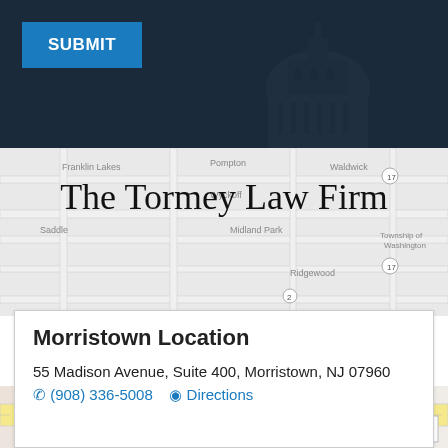SUBMIT
[Figure (map): Greyscale road map background showing Franklin Lakes, Wyckoff, Waldwick, Midland Park, Ridgewood and surrounding NJ areas]
The Tormey Law Firm
Morristown Location
55 Madison Avenue, Suite 400, Morristown, NJ 07960
(908) 336-5008   Directions
[Figure (map): Street-level map showing Madison Ave near the Morristown office location with expand/fullscreen icon]